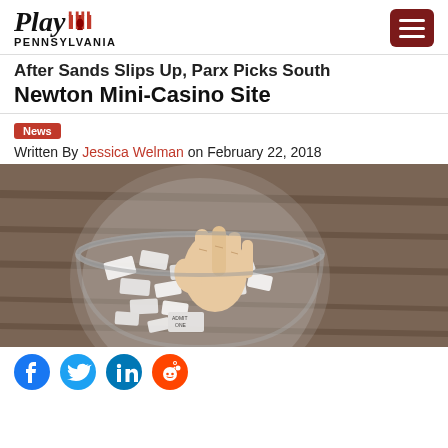Play Pennsylvania
After Sands Slips Up, Parx Picks South Newton Mini-Casino Site
News
Written By Jessica Welman on February 22, 2018
[Figure (photo): A hand reaching into a glass bowl filled with folded raffle/admission tickets, viewed from above on a wooden surface]
[Figure (infographic): Social media share icons: Facebook, Twitter, LinkedIn, Reddit]